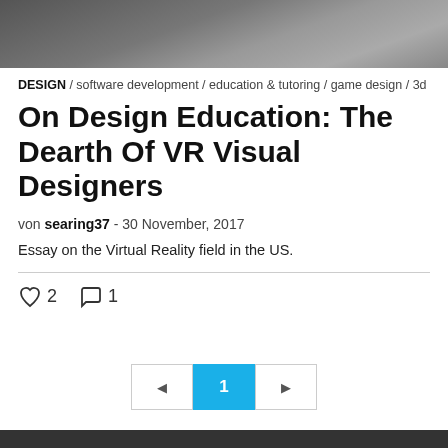[Figure (photo): Header image showing a person working at a computer/laptop, dark toned]
DESIGN / software development / education & tutoring / game design / 3d ...
On Design Education: The Dearth Of VR Visual Designers
von searing37 - 30 November, 2017
Essay on the Virtual Reality field in the US.
2   1